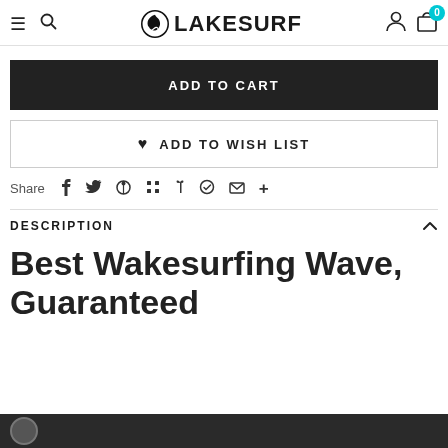LAKESURF — navigation header with hamburger menu, search, logo, user icon, cart (0)
ADD TO CART
♥ ADD TO WISH LIST
Share  f  🐦  P  ⊞  ✍  ♡  ✉  +
DESCRIPTION
Best Wakesurfing Wave, Guaranteed